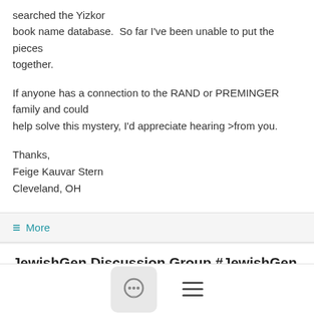searched the Yizkor book name database.  So far I've been unable to put the pieces together.
If anyone has a connection to the RAND or PREMINGER family and could help solve this mystery, I'd appreciate hearing >from you.
Thanks,
Feige Kauvar Stern
Cleveland, OH
≡ More
JewishGen Discussion Group #JewishGen Looking for connection between RAND , PREMINGER and ALTEIN families #general
1/08/18
Feige Ste...